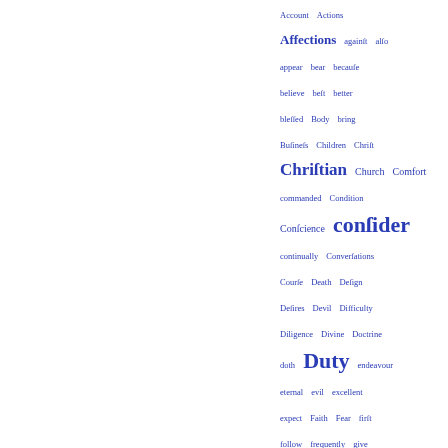Account Actions Affections against also appear bear because believe best better blessed Body bring Business Children Christ Christian Church Comfort commanded Condition Conscience consider continually Conversations Course Death Design Desires Devil Difficulty Diligence Divine Doctrine doth Duty endeavour eternal evil excellent expect Faith Fear first follow frequently give